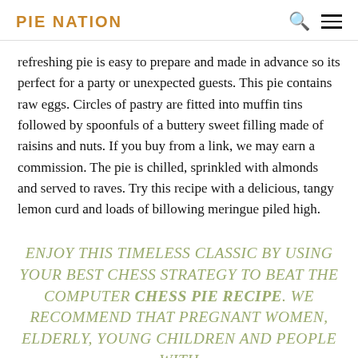PIE NATION
refreshing pie is easy to prepare and made in advance so its perfect for a party or unexpected guests. This pie contains raw eggs. Circles of pastry are fitted into muffin tins followed by spoonfuls of a buttery sweet filling made of raisins and nuts. If you buy from a link, we may earn a commission. The pie is chilled, sprinkled with almonds and served to raves. Try this recipe with a delicious, tangy lemon curd and loads of billowing meringue piled high.
ENJOY THIS TIMELESS CLASSIC BY USING YOUR BEST CHESS STRATEGY TO BEAT THE COMPUTER CHESS PIE RECIPE. WE RECOMMEND THAT PREGNANT WOMEN, ELDERLY, YOUNG CHILDREN AND PEOPLE WITH